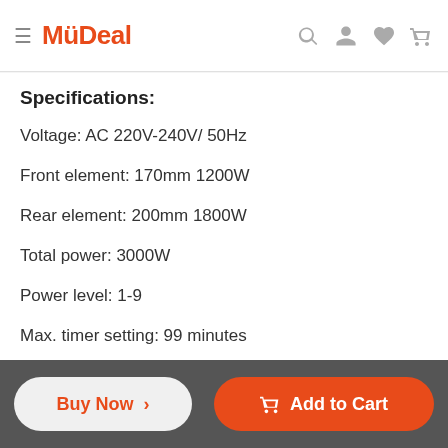MyDeal
Specifications:
Voltage: AC 220V-240V/ 50Hz
Front element: 170mm 1200W
Rear element: 200mm 1800W
Total power: 3000W
Power level: 1-9
Max. timer setting: 99 minutes
Cable length: 120cm
Built-in dimension: 268 x 500mm
Buy Now > | Add to Cart